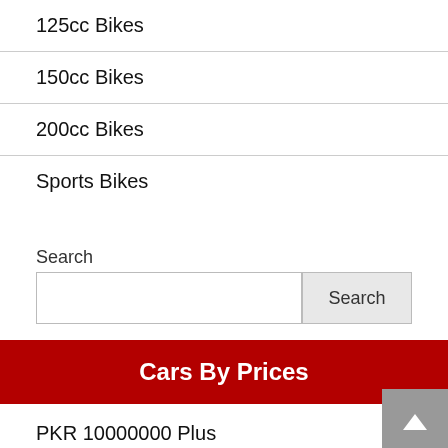125cc Bikes
150cc Bikes
200cc Bikes
Sports Bikes
Search
Cars By Prices
PKR 10000000 Plus
PKR 5000000 to 10000000